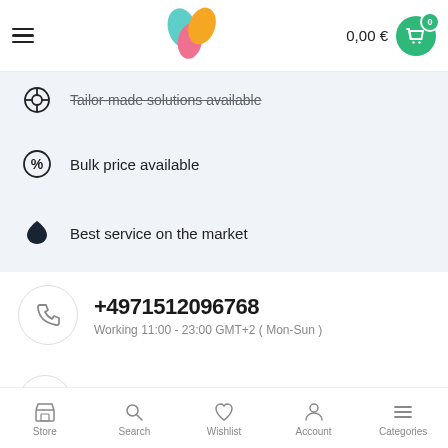0,00 €
Tailor-made solutions available
Bulk price available
Best service on the market
+4971512096768
Working 11:00 - 23:00 GMT+2 ( Mon-Sun )
[Figure (logo): Facebook circle icon with green f letter]
Store  Search  Wishlist  Account  Categories